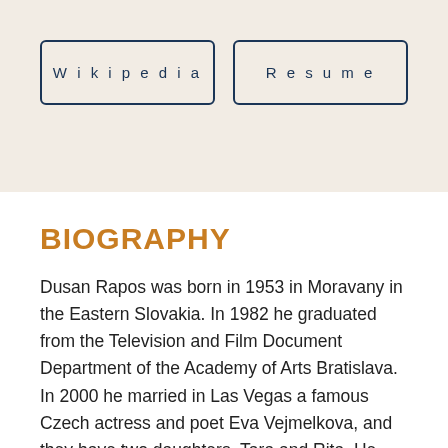[Figure (other): Two button-style boxes labeled 'Wikipedia' and 'Resume' on a beige background]
BIOGRAPHY
Dusan Rapos was born in 1953 in Moravany in the Eastern Slovakia. In 1982 he graduated from the Television and Film Document Department of the Academy of Arts Bratislava. In 2000 he married in Las Vegas a famous Czech actress and poet Eva Vejmelkova, and they have two daughters, Tara and Rita. He lives in Havirov in Moravia